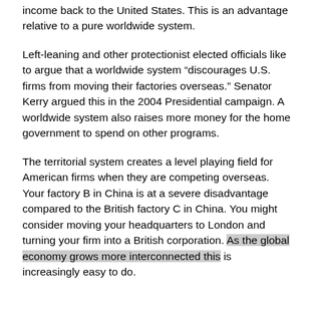income back to the United States. This is an advantage relative to a pure worldwide system.
Left-leaning and other protectionist elected officials like to argue that a worldwide system “discourages U.S. firms from moving their factories overseas.” Senator Kerry argued this in the 2004 Presidential campaign. A worldwide system also raises more money for the home government to spend on other programs.
The territorial system creates a level playing field for American firms when they are competing overseas. Your factory B in China is at a severe disadvantage compared to the British factory C in China. You might consider moving your headquarters to London and turning your firm into a British corporation. As the global economy grows more interconnected this is increasingly easy to do.